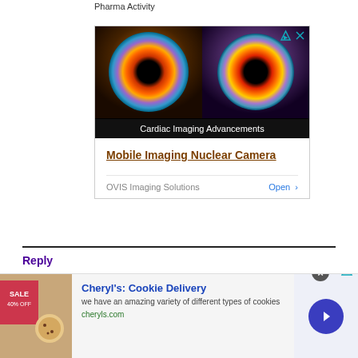Pharma Activity
[Figure (photo): Advertisement for OVIS Imaging Solutions featuring cardiac imaging visuals (two glowing ring/donut medical scan images), with text 'Cardiac Imaging Advancements' and ad link 'Mobile Imaging Nuclear Camera']
Mobile Imaging Nuclear Camera
OVIS Imaging Solutions   Open >
Reply
[Figure (photo): Bottom banner advertisement for Cheryl's Cookie Delivery showing cookie/baked goods image, title 'Cheryl's: Cookie Delivery', description 'we have an amazing variety of different types of cookies', URL 'cheryls.com', with a blue circular arrow button]